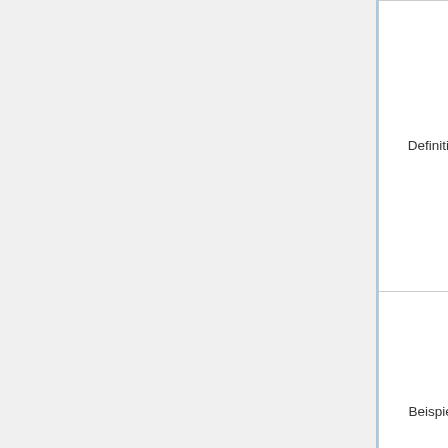|  |  |  |
| --- | --- | --- |
| Definition | Kein Begutachtungsverfahren, allenfalls Möglichkeiten zur Kommentierung. | Ann...
Hera...
Edit...
Fach...
Exp...
Verl... |
| Beispiele | bioRxiv, arXiv, PeerJ PrePrints | v.a.
Buc...
(Mo...
Buc...
PLC...
mög... |
Subjects
Definition